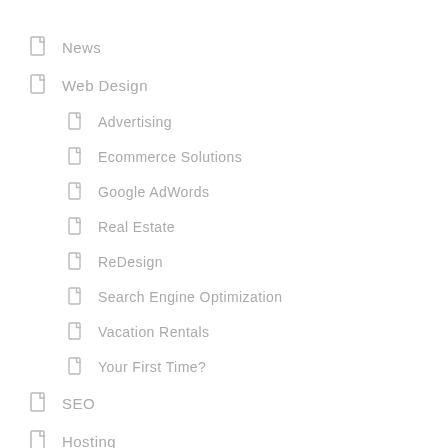News
Web Design
Advertising
Ecommerce Solutions
Google AdWords
Real Estate
ReDesign
Search Engine Optimization
Vacation Rentals
Your First Time?
SEO
Hosting
CMS